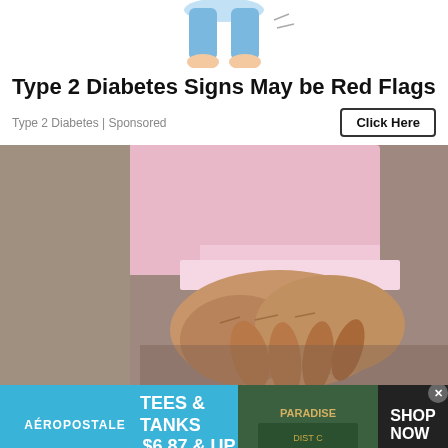[Figure (illustration): Cartoon illustration of a person's legs and feet from below waist]
Type 2 Diabetes Signs May be Red Flags
Type 2 Diabetes | Sponsored
Click Here
[Figure (photo): Close-up photo of an elderly person in a pink shirt and brown pants holding their hands clasped together at their midsection/groin area]
[Figure (photo): Aeropostale advertisement banner: TEES & TANKS $6.87 & UP, SHOP NOW, featuring image of clothing/accessories]